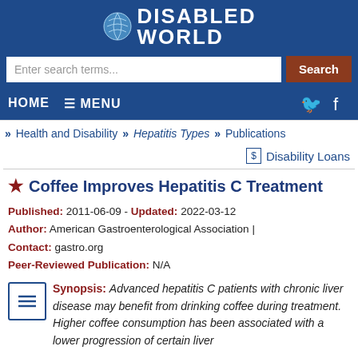Disabled World
Enter search terms... Search
HOME ☰ MENU
» Health and Disability » Hepatitis Types » Publications
Disability Loans
Coffee Improves Hepatitis C Treatment
Published: 2011-06-09 - Updated: 2022-03-12
Author: American Gastroenterological Association |
Contact: gastro.org
Peer-Reviewed Publication: N/A
Synopsis: Advanced hepatitis C patients with chronic liver disease may benefit from drinking coffee during treatment. Higher coffee consumption has been associated with a lower progression of certain liver...